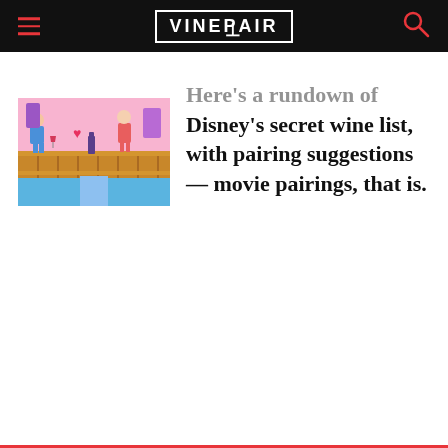VINEPAIR
[Figure (screenshot): Thumbnail image showing a colorful cartoon/pixel-art style scene with characters at what appears to be a wine bar or festival, with pink and purple tones, wooden fence elements, and blue water.]
Here's a rundown of Disney's secret wine list, with pairing suggestions — movie pairings, that is.